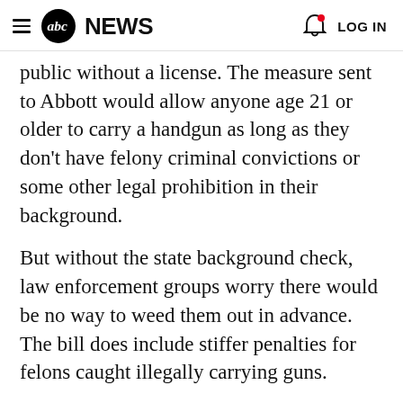ABC NEWS  LOG IN
public without a license. The measure sent to Abbott would allow anyone age 21 or older to carry a handgun as long as they don't have felony criminal convictions or some other legal prohibition in their background.
But without the state background check, law enforcement groups worry there would be no way to weed them out in advance. The bill does include stiffer penalties for felons caught illegally carrying guns.
The bill would not prevent businesses from banning guns on their property, and federal background checks for some gun purchases